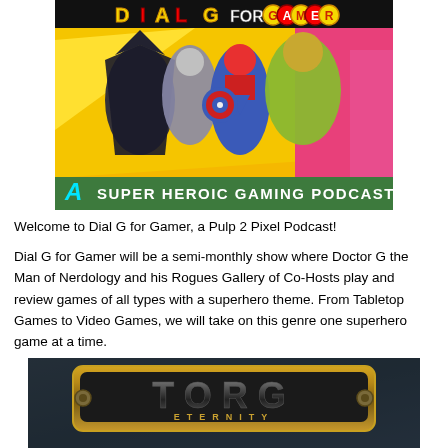[Figure (illustration): Dial G for Gamer podcast logo image showing superhero comic art characters on a yellow/orange background with a green banner at the bottom reading 'A SUPER HEROIC GAMING PODCAST']
Welcome to Dial G for Gamer, a Pulp 2 Pixel Podcast!
Dial G for Gamer will be a semi-monthly show where Doctor G the Man of Nerdology and his Rogues Gallery of Co-Hosts play and review games of all types with a superhero theme. From Tabletop Games to Video Games, we will take on this genre one superhero game at a time.
[Figure (logo): TORG Eternity logo — metallic gold lettering on dark background with bolts on sides and 'ETERNITY' text below]